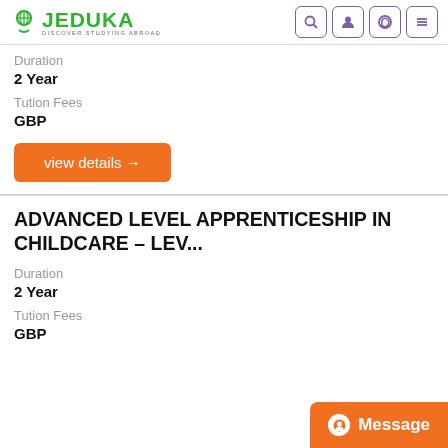JEDUKA — DISCOVER STUDYING ABROAD
2 Year
Tution Fees
GBP
view details →
ADVANCED LEVEL APPRENTICESHIP IN CHILDCARE – LEV...
Duration
2 Year
Tution Fees
GBP
Message